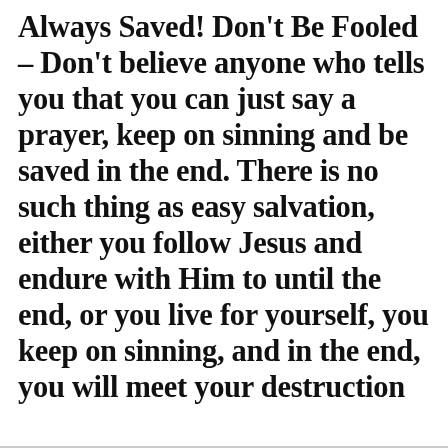Always Saved! Don't Be Fooled – Don't believe anyone who tells you that you can just say a prayer, keep on sinning and be saved in the end. There is no such thing as easy salvation, either you follow Jesus and endure with Him to until the end, or you live for yourself, you keep on sinning, and in the end, you will meet your destruction